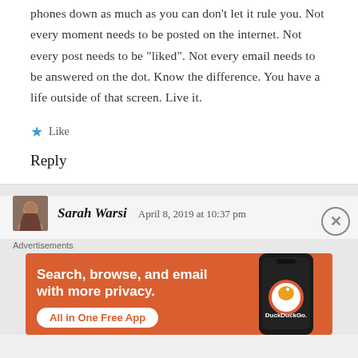phones down as much as you can don't let it rule you. Not every moment needs to be posted on the internet. Not every post needs to be "liked". Not every email needs to be answered on the dot. Know the difference. You have a life outside of that screen. Live it.
Like
Reply
Sarah Warsi   April 8, 2019 at 10:37 pm
Advertisements
[Figure (screenshot): DuckDuckGo advertisement banner with orange background. Text reads: 'Search, browse, and email with more privacy. All in One Free App'. Shows a phone with DuckDuckGo logo.]